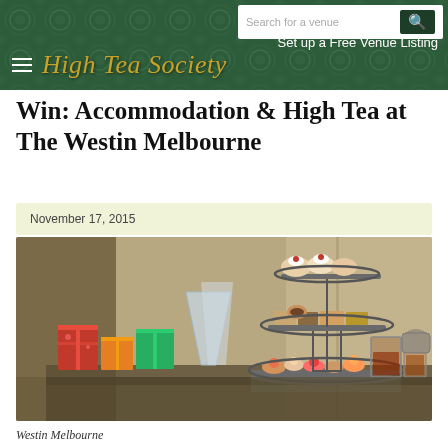High Tea Society — Search for a venue | Set up a Free Venue Listing
Win: Accommodation & High Tea at The Westin Melbourne
November 17, 2015
[Figure (photo): A three-tiered afternoon tea stand loaded with pastries, cakes and sweets on a table with colorful gift boxes and glasses of tea. Westin Melbourne high tea setting.]
Westin Melbourne